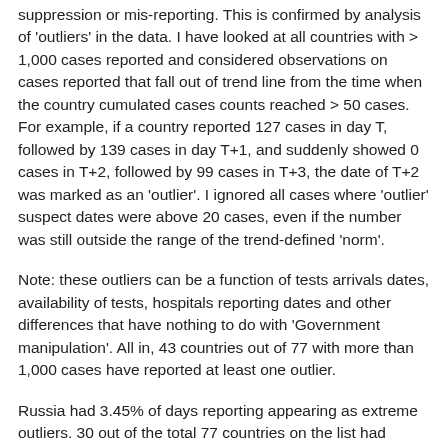suppression or mis-reporting. This is confirmed by analysis of 'outliers' in the data. I have looked at all countries with > 1,000 cases reported and considered observations on cases reported that fall out of trend line from the time when the country cumulated cases counts reached > 50 cases. For example, if a country reported 127 cases in day T, followed by 139 cases in day T+1, and suddenly showed 0 cases in T+2, followed by 99 cases in T+3, the date of T+2 was marked as an 'outlier'. I ignored all cases where 'outlier' suspect dates were above 20 cases, even if the number was still outside the range of the trend-defined 'norm'.
Note: these outliers can be a function of tests arrivals dates, availability of tests, hospitals reporting dates and other differences that have nothing to do with 'Government manipulation'. All in, 43 countries out of 77 with more than 1,000 cases have reported at least one outlier.
Russia had 3.45% of days reporting appearing as extreme outliers. 30 out of the total 77 countries on the list had higher percentage of outliers days than Russia. Median for 77 countries was 2.9%, mean was 5.9% and STDEV was 8.6%.